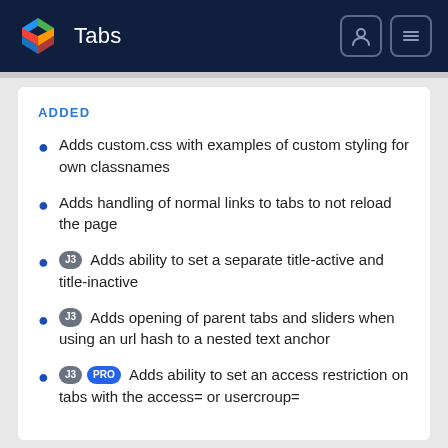Tabs
ADDED
Adds custom.css with examples of custom styling for own classnames
Adds handling of normal links to tabs to not reload the page
J3 Adds ability to set a separate title-active and title-inactive
J3 Adds opening of parent tabs and sliders when using an url hash to a nested text anchor
J3 PRO Adds ability to set an access restriction on tabs with the access= or usergroup=